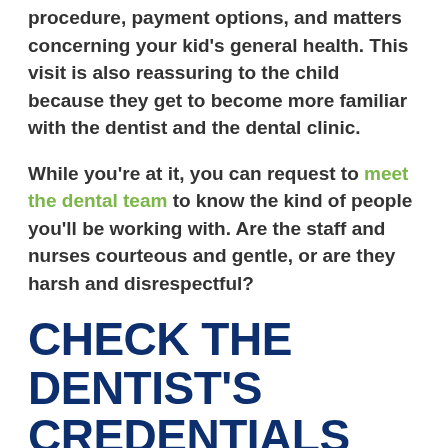procedure, payment options, and matters concerning your kid's general health. This visit is also reassuring to the child because they get to become more familiar with the dentist and the dental clinic.
While you're at it, you can request to meet the dental team to know the kind of people you'll be working with. Are the staff and nurses courteous and gentle, or are they harsh and disrespectful?
CHECK THE DENTIST'S CREDENTIALS
...